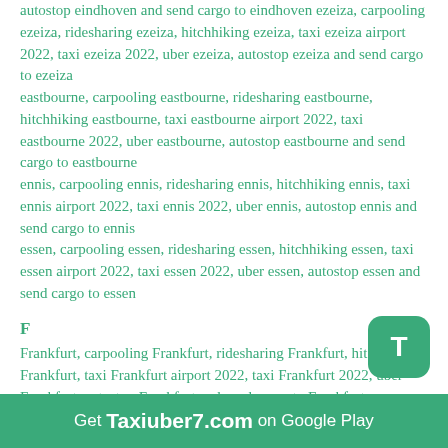autostop eindhoven and send cargo to eindhoven ezeiza, carpooling ezeiza, ridesharing ezeiza, hitchhiking ezeiza, taxi ezeiza airport 2022, taxi ezeiza 2022, uber ezeiza, autostop ezeiza and send cargo to ezeiza eastbourne, carpooling eastbourne, ridesharing eastbourne, hitchhiking eastbourne, taxi eastbourne airport 2022, taxi eastbourne 2022, uber eastbourne, autostop eastbourne and send cargo to eastbourne ennis, carpooling ennis, ridesharing ennis, hitchhiking ennis, taxi ennis airport 2022, taxi ennis 2022, uber ennis, autostop ennis and send cargo to ennis essen, carpooling essen, ridesharing essen, hitchhiking essen, taxi essen airport 2022, taxi essen 2022, uber essen, autostop essen and send cargo to essen
F
Frankfurt, carpooling Frankfurt, ridesharing Frankfurt, hitchhiking Frankfurt, taxi Frankfurt airport 2022, taxi Frankfurt 2022, uber Frankfurt, autostop Frankfurt and send cargo to Frankfurt firenze, carpooling firenze, ridesharing firenze, hitchhiking firenze, taxi firenze airport 2022, taxi firenze 2022, uber firenze, autostop firenze and send cargo to firenze
Get Taxiuber7.com on Google Play